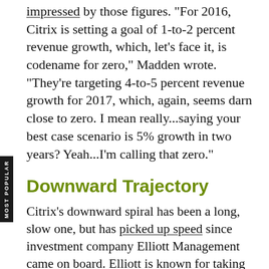impressed by those figures. "For 2016, Citrix is setting a goal of 1-to-2 percent revenue growth, which, let's face it, is codename for zero," Madden wrote. "They're targeting 4-to-5 percent revenue growth for 2017, which, again, seems darn close to zero. I mean really...saying your best case scenario is 5% growth in two years? Yeah...I'm calling that zero."
Downward Trajectory
Citrix's downward spiral has been a long, slow one, but has picked up speed since investment company Elliott Management came on board. Elliott is known for taking an activist role, and demanding swift and significant changes for floundering businesses. They suggested early on that GoTo be spun off as a separate company. A look at the changes in just the past year paint a portrait of a company undergoing